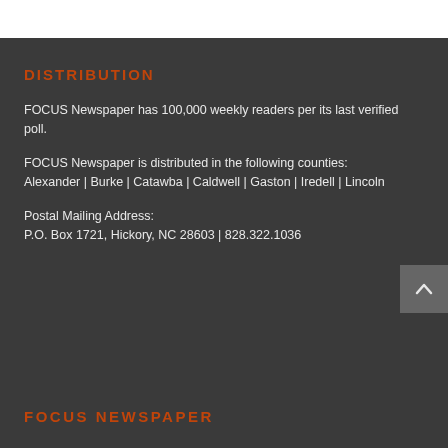DISTRIBUTION
FOCUS Newspaper has 100,000 weekly readers per its last verified poll.
FOCUS Newspaper is distributed in the following counties: Alexander | Burke | Catawba | Caldwell | Gaston | Iredell | Lincoln
Postal Mailing Address:
P.O. Box 1721, Hickory, NC 28603 | 828.322.1036
[Figure (illustration): Back to top scroll button with upward chevron arrow on dark grey background]
FOCUS NEWSPAPER